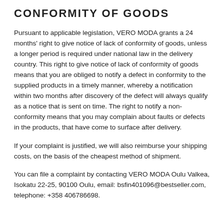CONFORMITY OF GOODS
Pursuant to applicable legislation, VERO MODA grants a 24 months' right to give notice of lack of conformity of goods, unless a longer period is required under national law in the delivery country. This right to give notice of lack of conformity of goods means that you are obliged to notify a defect in conformity to the supplied products in a timely manner, whereby a notification within two months after discovery of the defect will always qualify as a notice that is sent on time. The right to notify a non-conformity means that you may complain about faults or defects in the products, that have come to surface after delivery.
If your complaint is justified, we will also reimburse your shipping costs, on the basis of the cheapest method of shipment.
You can file a complaint by contacting VERO MODA Oulu Valkea, Isokatu 22-25, 90100 Oulu, email: bsfin401096@bestseller.com, telephone: +358 406786698.